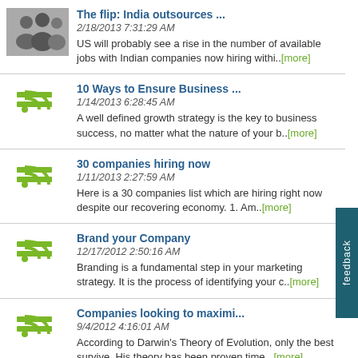The flip: India outsources ...
2/18/2013 7:31:29 AM
US will probably see a rise in the number of available jobs with Indian companies now hiring withi..[more]
10 Ways to Ensure Business ...
1/14/2013 6:28:45 AM
A well defined growth strategy is the key to business success, no matter what the nature of your b..[more]
30 companies hiring now
1/11/2013 2:27:59 AM
Here is a 30 companies list which are hiring right now despite our recovering economy. 1.&nbsp;Am..[more]
Brand your Company
12/17/2012 2:50:16 AM
Branding is a fundamental step in your marketing strategy. It is the process of identifying your c..[more]
Companies looking to maximi...
9/4/2012 4:16:01 AM
According to Darwin's Theory of Evolution, only the best survive. His theory has been proven time ..[more]